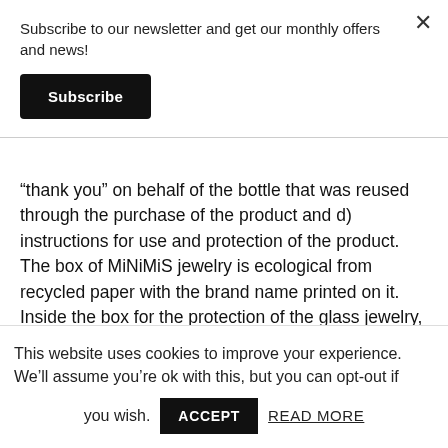Subscribe to our newsletter and get our monthly offers and news!
Subscribe
“thank you” on behalf of the bottle that was reused through the purchase of the product and d) instructions for use and protection of the product. The box of MiNiMiS jewelry is ecological from recycled paper with the brand name printed on it. Inside the box for the protection of the glass jewelry, we place natural sawdust which we procure from local wood processing companies where is the
This website uses cookies to improve your experience. We’ll assume you’re ok with this, but you can opt-out if you wish.
ACCEPT
READ MORE